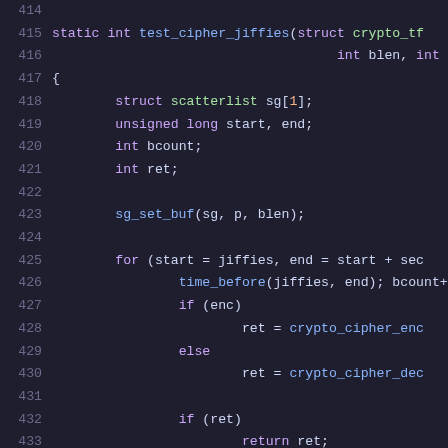[Figure (screenshot): Source code viewer showing lines 415-435 of a C file implementing test_cipher_jiffies function with syntax highlighting on dark background]